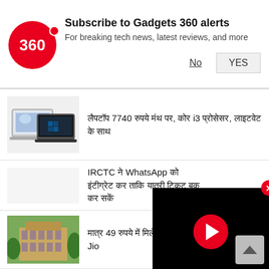[Figure (screenshot): Gadgets 360 push notification banner with red circular logo showing '360', title 'Subscribe to Gadgets 360 alerts', subtitle 'For breaking tech news, latest reviews, and more', with 'No' and 'YES' buttons]
[Figure (photo): Thumbnail image of two laptops side by side]
लैपटॉप 7740 रुपये मंथ पर, कोर i3 प्रोसेसर, लाइटवेट के साथ
IRCTC ने WhatsApp को इंटीग्रेट कर दिया है ताकि यात्री टिकट बुक कर सकें
[Figure (photo): Thumbnail image of a building/campus]
मात्र 49 रुपये में मिलें, ऑफर उठाएं अभी, Airtel या Jio
[Figure (screenshot): Video player overlay with black background and red play button circle]
[Figure (photo): Thumbnail image of smart watches]
Sponsored
$49 Smart Watch is Taking the Country by Storm
Fitnus